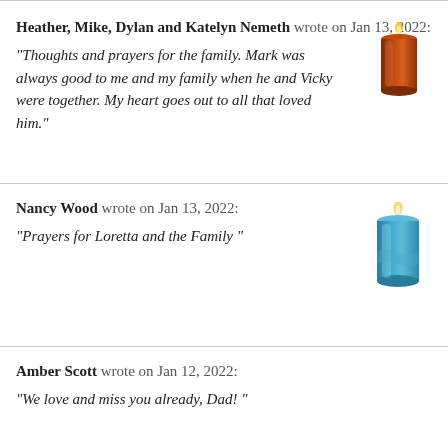Heather, Mike, Dylan and Katelyn Nemeth wrote on Jan 13, 2022: "Thoughts and prayers for the family. Mark was always good to me and my family when he and Vicky were together. My heart goes out to all that loved him."
[Figure (illustration): Orange/red pillar candle with lit flame]
Nancy Wood wrote on Jan 13, 2022: "Prayers for Loretta and the Family "
[Figure (illustration): Blue cylindrical candle with lit flame]
Amber Scott wrote on Jan 12, 2022: "We love and miss you already, Dad! "